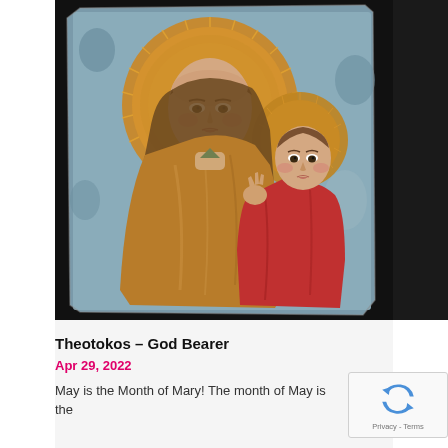[Figure (illustration): Medieval/Byzantine style painting or icon depicting the Virgin Mary (Theotokos) with the Christ Child. Mary wears golden-brown robes and has a large golden halo with radiating lines. The Christ Child sits to her right wearing a red garment with his own smaller golden halo. Both figures have rosy cheeks. The painting appears to be on a weathered stone or plaque with a blue-grey background, set against a dark/black border.]
Theotokos – God Bearer
Apr 29, 2022
May is the Month of Mary! The month of May is the